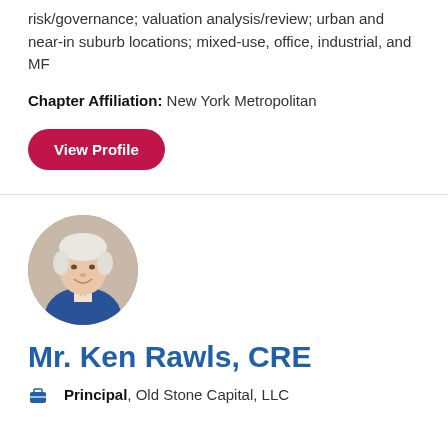risk/governance; valuation analysis/review; urban and near-in suburb locations; mixed-use, office, industrial, and MF
Chapter Affiliation: New York Metropolitan
View Profile
[Figure (photo): Circular headshot of Mr. Ken Rawls, an older gentleman with white hair wearing a blue jacket and tie, smiling.]
Mr. Ken Rawls, CRE
Principal, Old Stone Capital, LLC